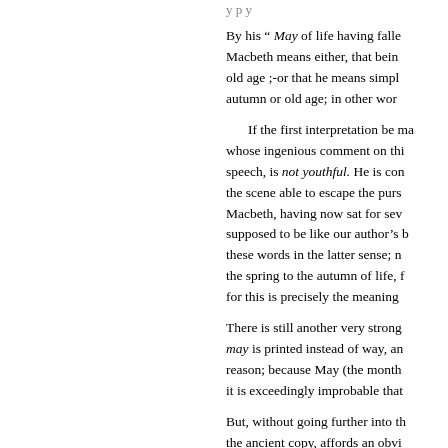By his “ May of life having fallen, Macbeth means either, that being in old age ;-or that he means simply autumn or old age; in other word
If the first interpretation be ma whose ingenious comment on thi speech, is not youthful. He is con the scene able to escape the purs Macbeth, having now sat for seve supposed to be like our author’s b these words in the latter sense; n the spring to the autumn of life, f for this is precisely the meaning
There is still another very strong may is printed instead of way, an reason; because May (the month it is exceedingly improbable that
But, without going further into th the ancient copy, affords an obvi
-the sear,] Sear is dry. So, in B
sear winter